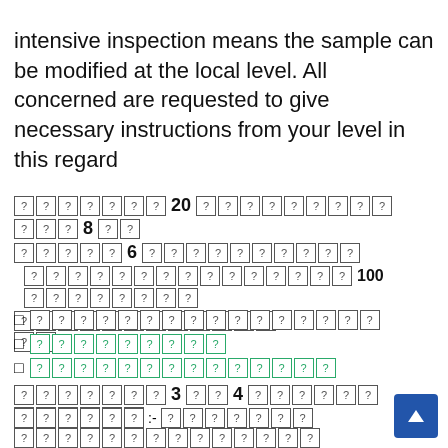intensive inspection means the sample can be modified at the local level.  All concerned are requested to give necessary instructions from your level in this regard
[mixed script characters] 20 [mixed script characters] 8 [mixed script characters] 6 [mixed script characters]
[mixed script characters] 100 [mixed script characters]
[bullet] [mixed script characters]
[bullet] [green highlighted mixed script characters]
[bullet] [green highlighted mixed script characters]
[mixed script characters] 3 [mixed] 4 [mixed script characters]
[mixed script characters] :- [mixed script characters]
[mixed script characters]
[green highlighted mixed script characters]